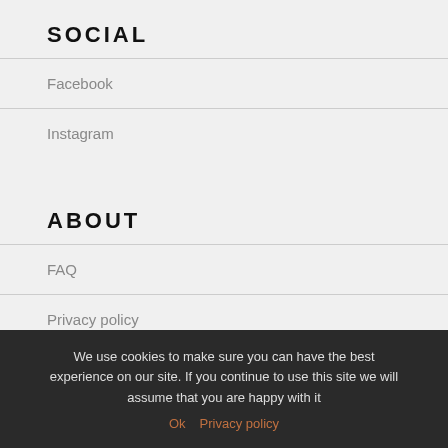SOCIAL
Facebook
Instagram
ABOUT
FAQ
Privacy policy
Terms and conditions
We use cookies to make sure you can have the best experience on our site. If you continue to use this site we will assume that you are happy with it
Ok   Privacy policy